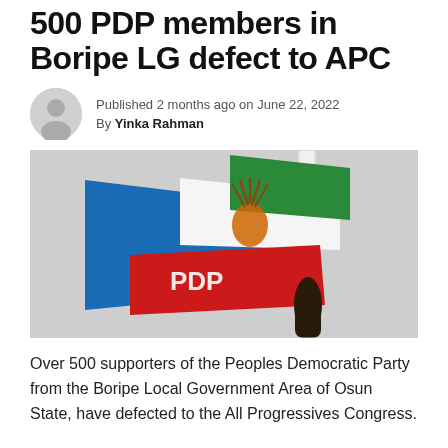500 PDP members in Boripe LG defect to APC
Published 2 months ago on June 22, 2022
By Yinka Rahman
[Figure (photo): A PDP (Peoples Democratic Party) flag being held up, showing red, white, blue and green colors with the party logo, against a grey sky background.]
Over 500 supporters of the Peoples Democratic Party from the Boripe Local Government Area of Osun State, have defected to the All Progressives Congress.